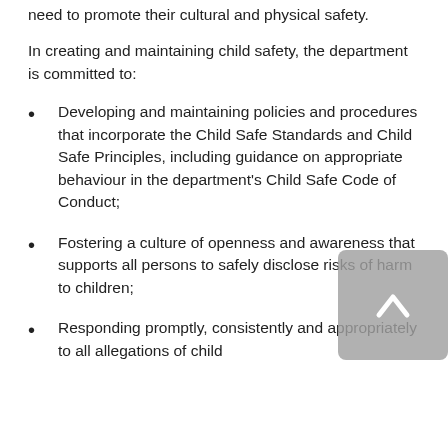need to promote their cultural and physical safety.
In creating and maintaining child safety, the department is committed to:
Developing and maintaining policies and procedures that incorporate the Child Safe Standards and Child Safe Principles, including guidance on appropriate behaviour in the department's Child Safe Code of Conduct;
Fostering a culture of openness and awareness that supports all persons to safely disclose risks of harm to children;
Responding promptly, consistently and appropriately to all allegations of child